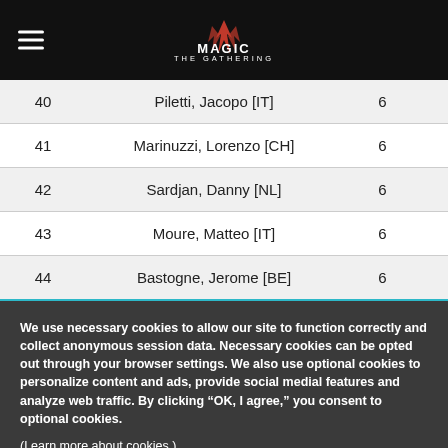Magic: The Gathering
| 40 | Piletti, Jacopo [IT] | 6 | 0.5000 |
| 41 | Marinuzzi, Lorenzo [CH] | 6 | 0.5000 |
| 42 | Sardjan, Danny [NL] | 6 | 0.5000 |
| 43 | Moure, Matteo [IT] | 6 | 0.5000 |
| 44 | Bastogne, Jerome [BE] | 6 | 0.5000 |
We use necessary cookies to allow our site to function correctly and collect anonymous session data. Necessary cookies can be opted out through your browser settings. We also use optional cookies to personalize content and ads, provide social medial features and analyze web traffic. By clicking “OK, I agree,” you consent to optional cookies.
(Learn more about cookies.)
OK, I agree   No, thanks